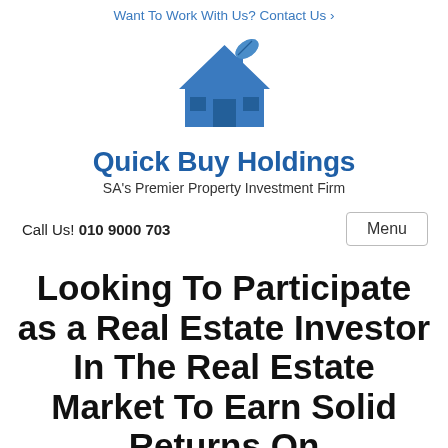Want To Work With Us? Contact Us ›
[Figure (logo): Quick Buy Holdings house logo with leaf icon in blue]
Quick Buy Holdings
SA's Premier Property Investment Firm
Call Us! 010 9000 703
Looking To Participate as a Real Estate Investor In The Real Estate Market To Earn Solid Returns On